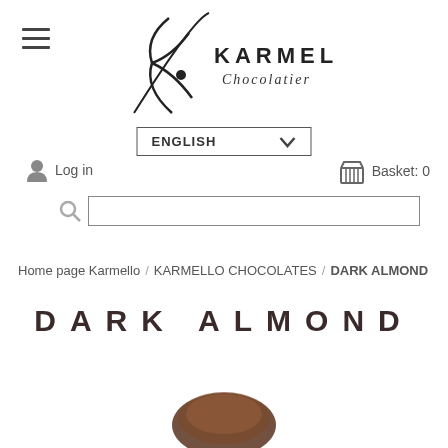[Figure (logo): Karmello Chocolatier logo with stylized K and script lettering]
ENGLISH ∨
Log in
Basket: 0
Home page Karmello / KARMELLO CHOCOLATES / DARK ALMOND
DARK ALMOND
[Figure (photo): Dark almond chocolate product image (partially visible at bottom)]